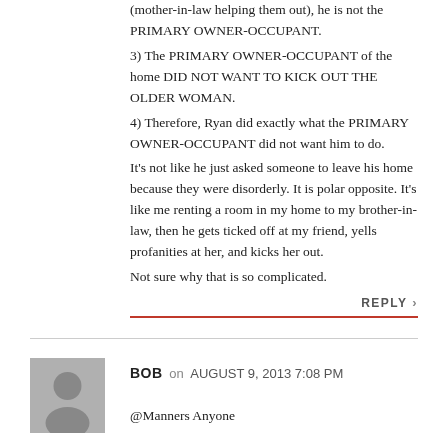(mother-in-law helping them out), he is not the PRIMARY OWNER-OCCUPANT. 3) The PRIMARY OWNER-OCCUPANT of the home DID NOT WANT TO KICK OUT THE OLDER WOMAN. 4) Therefore, Ryan did exactly what the PRIMARY OWNER-OCCUPANT did not want him to do. It's not like he just asked someone to leave his home because they were disorderly. It is polar opposite. It's like me renting a room in my home to my brother-in-law, then he gets ticked off at my friend, yells profanities at her, and kicks her out. Not sure why that is so complicated.
REPLY >
BOB on AUGUST 9, 2013 7:08 PM
@Manners Anyone